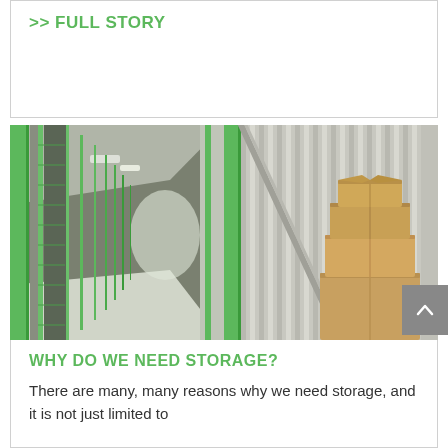>> FULL STORY
[Figure (photo): Storage facility showing green-trimmed storage corridor on the left and an open storage unit with stacked cardboard boxes on the right]
WHY DO WE NEED STORAGE?
There are many, many reasons why we need storage, and it is not just limited to